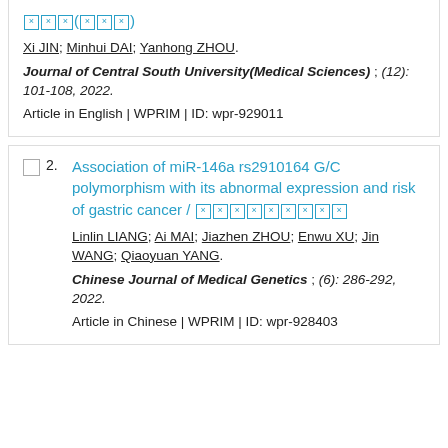[CJK characters](CJK subtitle)
Xi JIN; Minhui DAI; Yanhong ZHOU.
Journal of Central South University(Medical Sciences) ; (12): 101-108, 2022.
Article in English | WPRIM | ID: wpr-929011
Association of miR-146a rs2910164 G/C polymorphism with its abnormal expression and risk of gastric cancer / [CJK characters]
Linlin LIANG; Ai MAI; Jiazhen ZHOU; Enwu XU; Jin WANG; Qiaoyuan YANG.
Chinese Journal of Medical Genetics ; (6): 286-292, 2022.
Article in Chinese | WPRIM | ID: wpr-928403